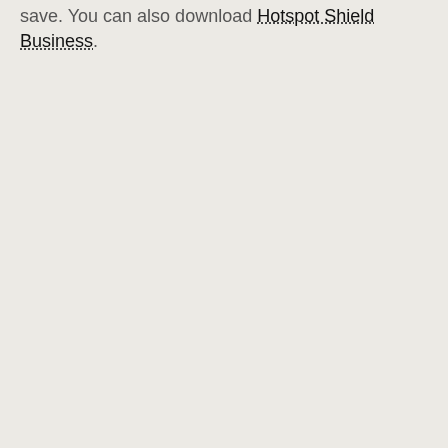save. You can also download Hotspot Shield Business.